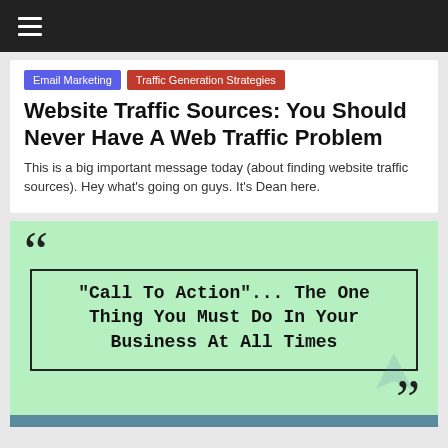≡
Email Marketing
Traffic Generation Strategies
Website Traffic Sources: You Should Never Have A Web Traffic Problem
This is a big important message today (about finding website traffic sources). Hey what's going on guys. It's Dean here.
[Figure (other): Quote block on green background: "Call To Action"... The One Thing You Must Do In Your Business At All Times]